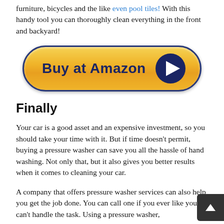furniture, bicycles and the like even pool tiles! With this handy tool you can thoroughly clean everything in the front and backyard!
[Figure (illustration): A yellow 'Buy at Amazon' button with a dark blue border and a circular play arrow icon on the right side.]
Finally
Your car is a good asset and an expensive investment, so you should take your time with it. But if time doesn't permit, buying a pressure washer can save you all the hassle of hand washing. Not only that, but it also gives you better results when it comes to cleaning your car.
A company that offers pressure washer services can also help you get the job done. You can call one if you ever like you can't handle the task. Using a pressure washer,